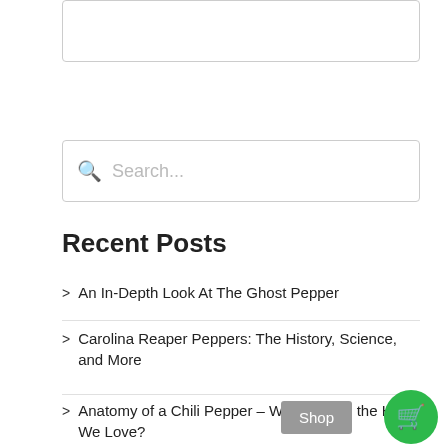Subscribe!
Search...
Recent Posts
An In-Depth Look At The Ghost Pepper
Carolina Reaper Peppers: The History, Science, and More
Anatomy of a Chili Pepper – What Makes the HOT We Love?